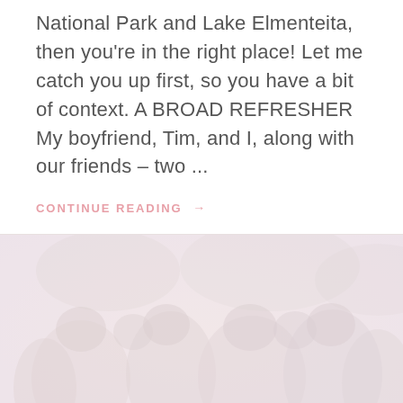National Park and Lake Elmenteita, then you're in the right place! Let me catch you up first, so you have a bit of context. A BROAD REFRESHER My boyfriend, Tim, and I, along with our friends – two ...
CONTINUE READING →
[Figure (photo): A faded, washed-out group photo of people outdoors, appearing to be at a social gathering or event. The image has a very light, almost bleached appearance with pink and lavender tones.]